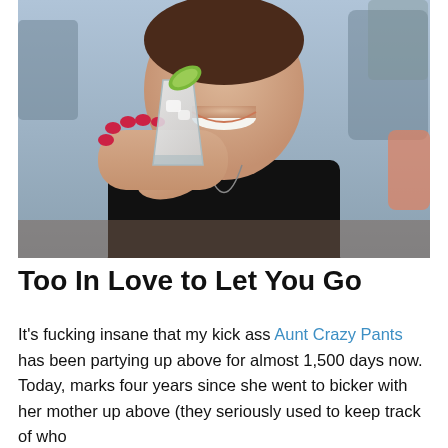[Figure (photo): A woman in a black sleeveless top holding up a cocktail glass with a lime garnish, smiling. She wears red nail polish and a long necklace. The setting appears to be an outdoor patio or restaurant.]
Too In Love to Let You Go
It's fucking insane that my kick ass Aunt Crazy Pants has been partying up above for almost 1,500 days now. Today, marks four years since she went to bicker with her mother up above (they seriously used to keep track of who